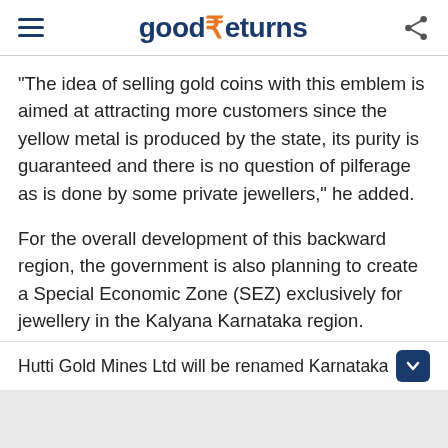good₹eturns
"The idea of selling gold coins with this emblem is aimed at attracting more customers since the yellow metal is produced by the state, its purity is guaranteed and there is no question of pilferage as is done by some private jewellers," he added.
For the overall development of this backward region, the government is also planning to create a Special Economic Zone (SEZ) exclusively for jewellery in the Kalyana Karnataka region.
Hutti Gold Mines Ltd will be renamed Karnataka State